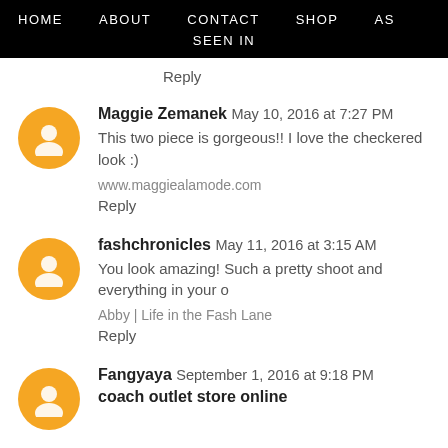HOME   ABOUT   CONTACT   SHOP   AS   SEEN IN
Reply
Maggie Zemanek May 10, 2016 at 7:27 PM
This two piece is gorgeous!! I love the checkered look :)
www.maggiealamode.com
Reply
fashchronicles May 11, 2016 at 3:15 AM
You look amazing! Such a pretty shoot and everything in your o
Abby | Life in the Fash Lane
Reply
Fangyaya September 1, 2016 at 9:18 PM
coach outlet store online